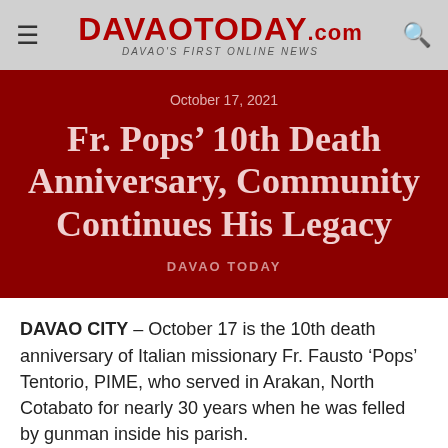DAVAOTODAY.com — Davao's First Online News
October 17, 2021
Fr. Pops' 10th Death Anniversary, Community Continues His Legacy
DAVAO TODAY
DAVAO CITY – October 17 is the 10th death anniversary of Italian missionary Fr. Fausto 'Pops' Tentorio, PIME, who served in Arakan, North Cotabato for nearly 30 years when he was felled by gunman inside his parish.